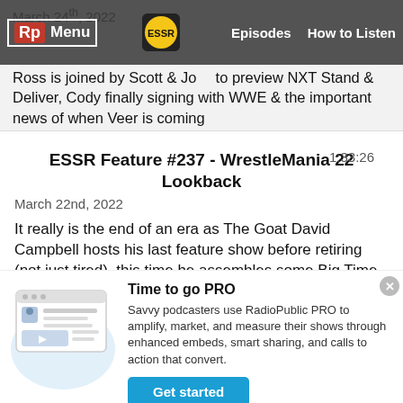March 24th, 2022 | Ross is joined by Scott & Jo... to preview NXT Stand & Deliver, Cody finally signing with WWE & the important news of when Veer is coming
ESSR Feature #237 - WrestleMania 22 Lookback
1:33:26
March 22nd, 2022
It really is the end of an era as The Goat David Campbell hosts his last feature show before retiring (not just tired). this time he assembles some Big Time losers to lookback at WrestleMania 22!
Time to go PRO
Savvy podcasters use RadioPublic PRO to amplify, market, and measure their shows through enhanced embeds, smart sharing, and calls to action that convert.
Get started